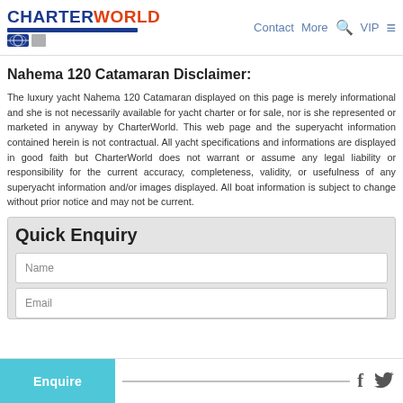CHARTERWORLD | Contact | More | VIP
Nahema 120 Catamaran Disclaimer:
The luxury yacht Nahema 120 Catamaran displayed on this page is merely informational and she is not necessarily available for yacht charter or for sale, nor is she represented or marketed in anyway by CharterWorld. This web page and the superyacht information contained herein is not contractual. All yacht specifications and informations are displayed in good faith but CharterWorld does not warrant or assume any legal liability or responsibility for the current accuracy, completeness, validity, or usefulness of any superyacht information and/or images displayed. All boat information is subject to change without prior notice and may not be current.
Quick Enquiry
Name
Email
Enquire